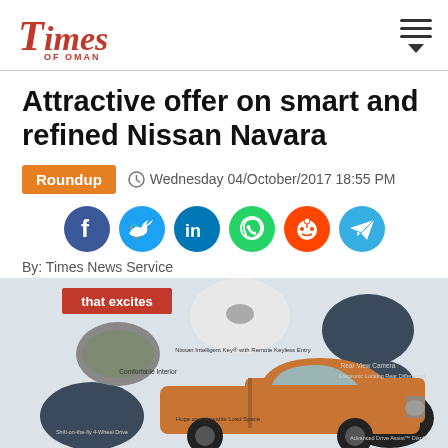Times of Oman
Attractive offer on smart and refined Nissan Navara
Roundup   Wednesday 04/October/2017 18:55 PM
[Figure (infographic): Social media share buttons: Facebook, Twitter, LinkedIn, WhatsApp, Reddit, Telegram]
By: Times News Service
[Figure (infographic): Nissan Navara features infographic showing car with feature callouts including Comfortable Interior, Nissan Intelligent Key with Remote Keyless Entry, Rear View Camera, Electronic Locking Rear Differential, Advanced Drive Assist Display, Shift-on-the-fly 4-Wheel Drive, Huge and Versatile Load Space. Text reads 'that excites'.]